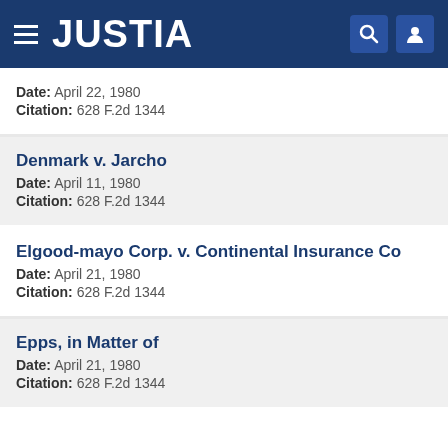JUSTIA
Date: April 22, 1980
Citation: 628 F.2d 1344
Denmark v. Jarcho
Date: April 11, 1980
Citation: 628 F.2d 1344
Elgood-mayo Corp. v. Continental Insurance Co
Date: April 21, 1980
Citation: 628 F.2d 1344
Epps, in Matter of
Date: April 21, 1980
Citation: 628 F.2d 1344